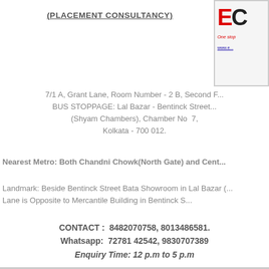(PLACEMENT CONSULTANCY)
[Figure (logo): Partial logo with red letter E and black C, text 'One stop' and partial URL 'www.e...']
7/1 A, Grant Lane, Room Number - 2 B, Second F...
BUS STOPPAGE: Lal Bazar - Bentinck Street...
(Shyam Chambers), Chamber No  7,
Kolkata - 700 012.
Nearest Metro: Both Chandni Chowk(North Gate) and Cent...
Landmark: Beside Bentinck Street Bata Showroom in Lal Bazar (...
Lane is Opposite to Mercantile Building in Bentinck S...
CONTACT :  8482070758, 8013486581.
Whatsapp:  72781 42542, 9830707389
Enquiry Time: 12 p.m to 5 p.m